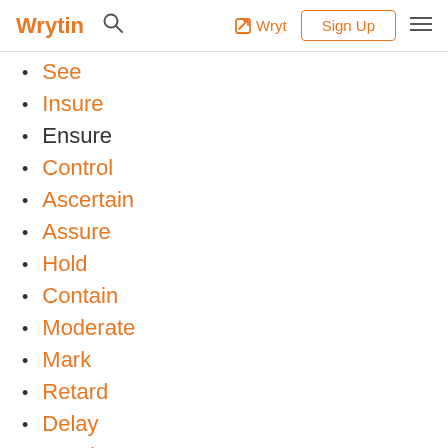Wrytin | Wryt | Sign Up
See
Insure
Ensure
Control
Ascertain
Assure
Hold
Contain
Moderate
Mark
Retard
Delay
Match